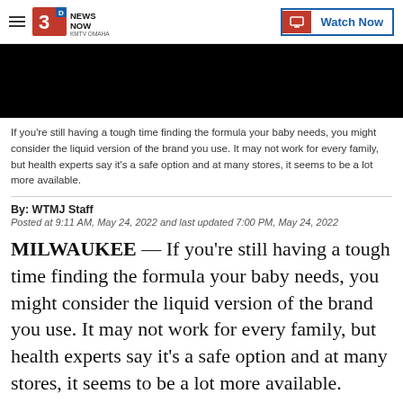3 News Now KMTV Omaha — Watch Now
[Figure (screenshot): Black video thumbnail area]
If you're still having a tough time finding the formula your baby needs, you might consider the liquid version of the brand you use. It may not work for every family, but health experts say it's a safe option and at many stores, it seems to be a lot more available.
By: WTMJ Staff
Posted at 9:11 AM, May 24, 2022 and last updated 7:00 PM, May 24, 2022
MILWAUKEE — If you're still having a tough time finding the formula your baby needs, you might consider the liquid version of the brand you use. It may not work for every family, but health experts say it's a safe option and at many stores, it seems to be a lot more available.